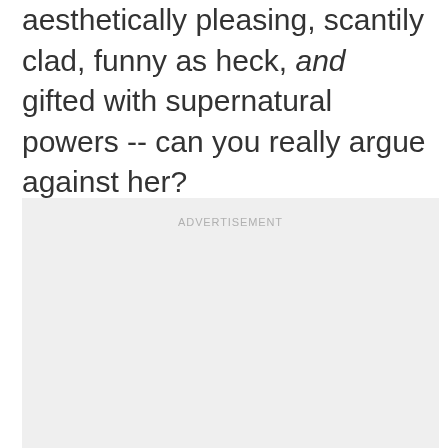aesthetically pleasing, scantily clad, funny as heck, and gifted with supernatural powers -- can you really argue against her?
[Figure (other): Advertisement placeholder block with light gray background and 'ADVERTISEMENT' label text]